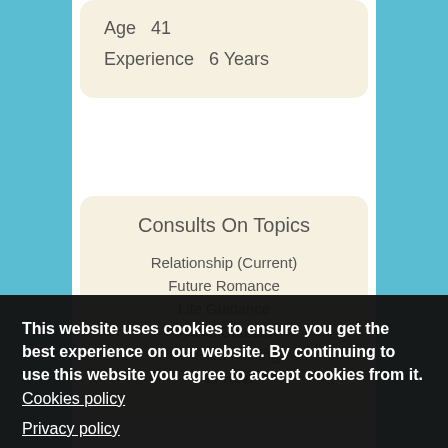Age   41
Experience   6 Years
Consults On Topics
Relationship (Current)
Future Romance
Life Guidance
Psychic Detective
Decision Making
Pet Help
This website uses cookies to ensure you get the best experience on our website. By continuing to use this website you agree to accept cookies from it. Cookies policy Privacy policy
Got it!